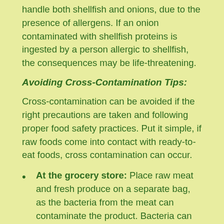handle both shellfish and onions, due to the presence of allergens. If an onion contaminated with shellfish proteins is ingested by a person allergic to shellfish, the consequences may be life-threatening.
Avoiding Cross-Contamination Tips:
Cross-contamination can be avoided if the right precautions are taken and following proper food safety practices. Put it simple, if raw foods come into contact with ready-to-eat foods, cross contamination can occur.
At the grocery store: Place raw meat and fresh produce on a separate bag, as the bacteria from the meat can contaminate the product. Bacteria can come from the juices of the raw meat or from contact with the products packaging, even though visible juices may not be present.
Store food in the right place: